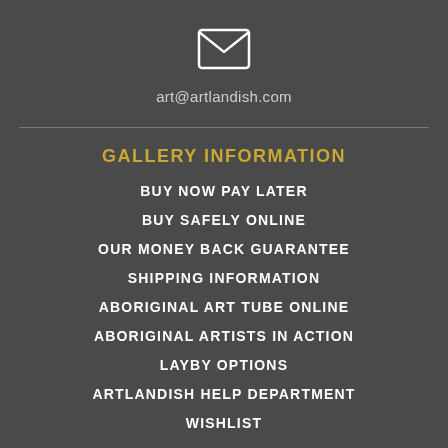[Figure (illustration): Envelope/email icon, white outline on dark grey background]
art@artlandish.com
GALLERY INFORMATION
BUY NOW PAY LATER
BUY SAFELY ONLINE
OUR MONEY BACK GUARANTEE
SHIPPING INFORMATION
ABORIGINAL ART TUBE ONLINE
ABORIGINAL ARTISTS IN ACTION
LAYBY OPTIONS
ARTLANDISH HELP DEPARTMENT
WISHLIST
ONLINE LIBRARY